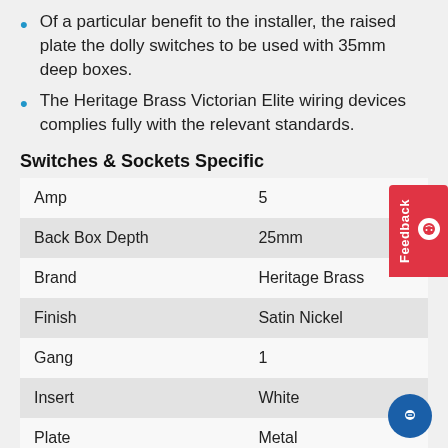Of a particular benefit to the installer, the raised plate the dolly switches to be used with 35mm deep boxes.
The Heritage Brass Victorian Elite wiring devices complies fully with the relevant standards.
Switches & Sockets Specific
| Amp | 5 |
| Back Box Depth | 25mm |
| Brand | Heritage Brass |
| Finish | Satin Nickel |
| Gang | 1 |
| Insert | White |
| Plate | Metal |